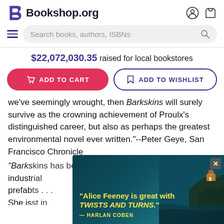Bookshop.org
Search books, authors, ISBNs
$22,072,030.35 raised for local bookstores
ADD TO CART
ADD TO WISHLIST
we've seemingly wrought, then Barkskins will surely survive as the crowning achievement of Proulx's distinguished career, but also as perhaps the greatest environmental novel ever written."--Peter Geye, San Francisco Chronicle
"Barkskins has been hailed as the...the industrial...prefab...ts...She is...st in history...ntal
[Figure (screenshot): Advertisement overlay with dark teal ocean/cliff background image, yellow text reading "Alice Feeney is great with TWISTS AND TURNS." — HARLAN COBEN, with a close button (×) in top right corner]